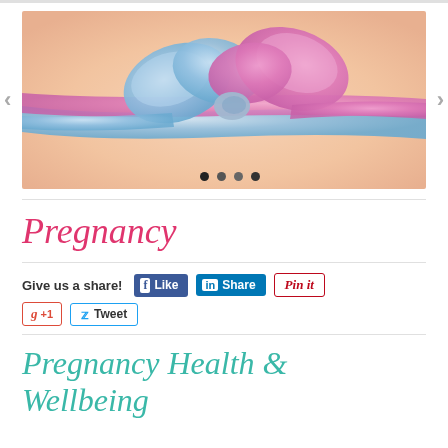[Figure (photo): A pregnant belly wrapped with a blue satin ribbon and a pink satin ribbon tied in a bow, with carousel navigation arrows and dot indicators]
Pregnancy
Give us a share!
[Figure (infographic): Social share buttons: Facebook Like, LinkedIn Share, Pinterest Pin it, Google +1, Twitter Tweet]
Pregnancy Health & Wellbeing